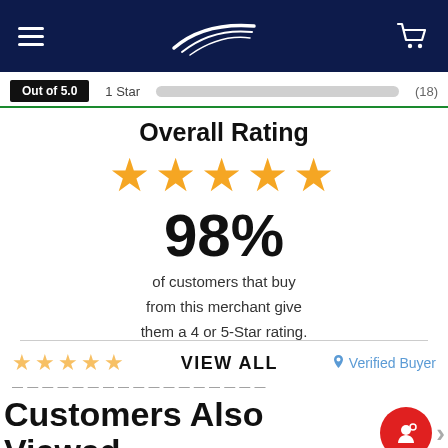[Figure (screenshot): Navy blue navigation bar with hamburger menu icon on left, airline-style logo in center-left, and shopping cart icon on right]
Out of 5.0   1 Star   (18)
Overall Rating
[Figure (other): Five orange stars representing overall rating]
98%
of customers that buy from this merchant give them a 4 or 5-Star rating.
VIEW ALL
Verified Buyer
Customers Also Viewed